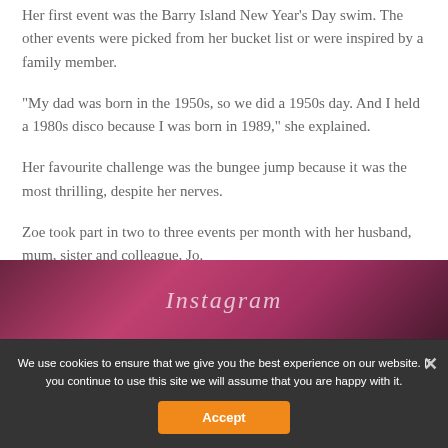Her first event was the Barry Island New Year's Day swim. The other events were picked from her bucket list or were inspired by a family member.
“My dad was born in the 1950s, so we did a 1950s day. And I held a 1980s disco because I was born in 1989,” she explained.
Her favourite challenge was the bungee jump because it was the most thrilling, despite her nerves.
Zoe took part in two to three events per month with her husband, mum, sister and colleague, Jo.
[Figure (photo): Partially visible social media (Instagram) image with pink/red tones, partially obscured by cookie consent overlay]
We use cookies to ensure that we give you the best experience on our website. If you continue to use this site we will assume that you are happy with it.